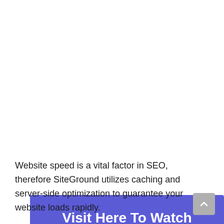[Figure (other): Purple/indigo button/banner with white text reading 'Visit Here To Watch SiteGround Demo →']
Website speed is a vital factor in SEO, therefore SiteGround utilizes caching and server-side optimization to guarantee your website loads rapidly.